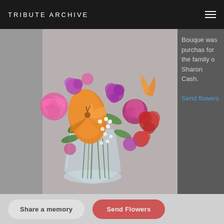TRIBUTE ARCHIVE
[Figure (photo): A colorful flower bouquet featuring orange lilies, pink carnations, red alstroemeria, and purple filler flowers arranged in a clear glass vase, displayed on a white/gray background with a loading spinner overlay]
Bouquet was purchased for the family of Sharon Cash. Send flowers